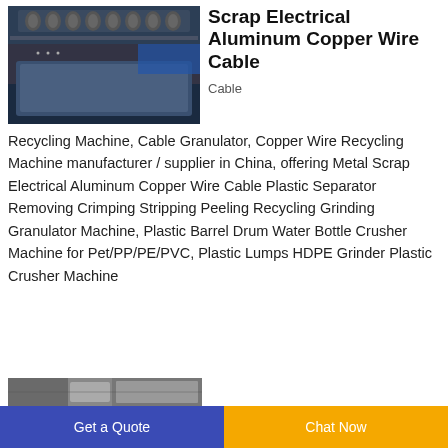[Figure (photo): Photo of a scrap electrical aluminum copper wire cable recycling machine, showing industrial rollers and a dark blue collection tray]
Scrap Electrical Aluminum Copper Wire Cable
Cable
Recycling Machine, Cable Granulator, Copper Wire Recycling Machine manufacturer / supplier in China, offering Metal Scrap Electrical Aluminum Copper Wire Cable Plastic Separator Removing Crimping Stripping Peeling Recycling Grinding Granulator Machine, Plastic Barrel Drum Water Bottle Crusher Machine for Pet/PP/PE/PVC, Plastic Lumps HDPE Grinder Plastic Crusher Machine
[Figure (photo): Partial view of another industrial recycling machine at the bottom of the page]
Get a Quote
Chat Now